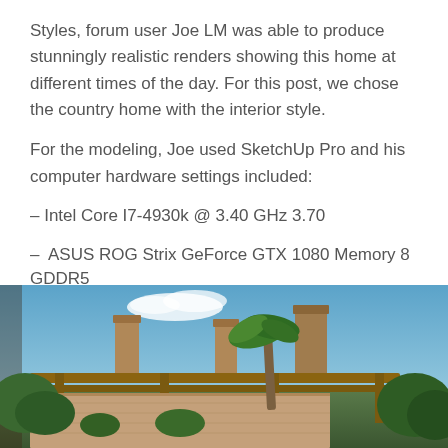Styles, forum user Joe LM was able to produce stunningly realistic renders showing this home at different times of the day. For this post, we chose the country home with the interior style.
For the modeling, Joe used SketchUp Pro and his computer hardware settings included:
– Intel Core I7-4930k @ 3.40 GHz 3.70
– ASUS ROG Strix GeForce GTX 1080 Memory 8 GDDR5
– Windows 10 Pro 64 bits
[Figure (photo): Exterior view of a country-style home with stone chimneys and wooden pergola structure, surrounded by palm trees and lush green vegetation under a blue sky with clouds.]